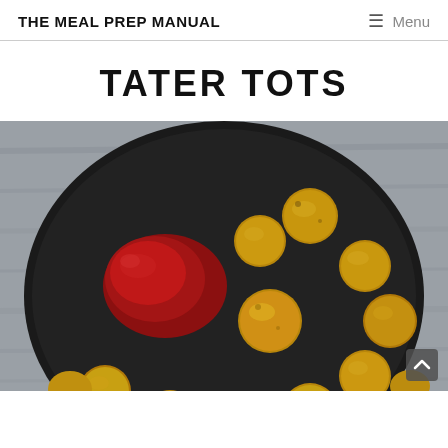THE MEAL PREP MANUAL   ☰ Menu
TATER TOTS
[Figure (photo): Overhead view of a dark round plate on a gray wooden surface, with golden-brown tater tots arranged around a pool of red ketchup in the center-left of the plate.]